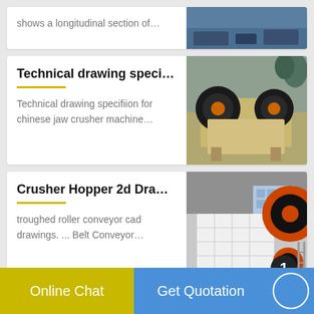shows a longitudinal section of…
[Figure (photo): Industrial machinery - blue equipment photo (partial, top of page)]
Technical drawing speci…
Technical drawing specifiion for chinese jaw crusher machine…
[Figure (photo): Photo of jaw crusher machine with large black and orange wheels/rollers]
Crusher Hopper 2d Dra…
troughed roller conveyor cad drawings. ... Belt Conveyor…
[Figure (photo): Photo of white crusher hopper machine with orange circular components, badge showing number 1]
Online Chat   Get Quotation